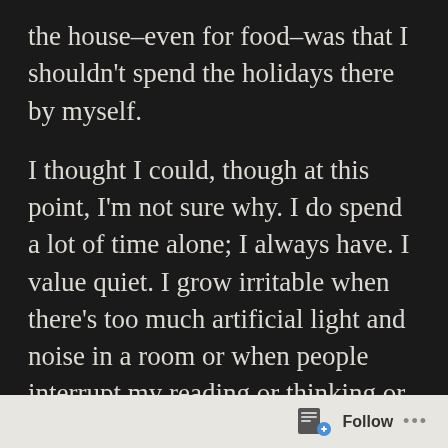the house–even for food–was that I shouldn't spend the holidays there by myself.
I thought I could, though at this point, I'm not sure why. I do spend a lot of time alone; I always have. I value quiet. I grow irritable when there's too much artificial light and noise in a room or when people interrupt my reading or thinking or television-watching with loud, dissonant conversation.
This is one of the minor things that worries me about having a child, how dogged I can be
[Figure (screenshot): WordPress Follow button widget in a light grey footer bar, showing a document/follow icon and the word Follow with three dots menu]